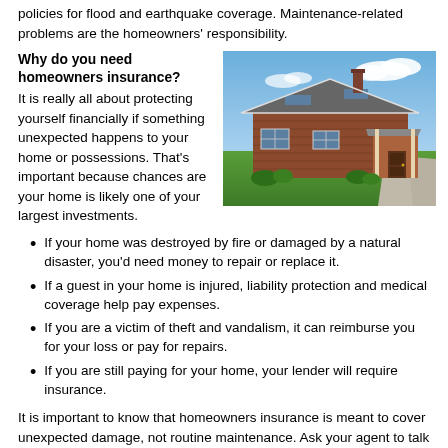policies for flood and earthquake coverage. Maintenance-related problems are the homeowners' responsibility.
Why do you need homeowners insurance?
It is really all about protecting yourself financially if something unexpected happens to your home or possessions. That's important because chances are your home is likely one of your largest investments.
[Figure (photo): Photo of a large brick single-story ranch house with a gray roof, dormer windows, covered front porch, well-manicured lawn, and a gravel driveway under a partly cloudy blue sky.]
If your home was destroyed by fire or damaged by a natural disaster, you'd need money to repair or replace it.
If a guest in your home is injured, liability protection and medical coverage help pay expenses.
If you are a victim of theft and vandalism, it can reimburse you for your loss or pay for repairs.
If you are still paying for your home, your lender will require insurance.
It is important to know that homeowners insurance is meant to cover unexpected damage, not routine maintenance. Ask your agent to talk about what is covered and be sure to read your policy so you know exactly what's included and what is not.
Things to consider and questions to ask your agent
Here are few things to discuss with your agent that will influence your decisions.